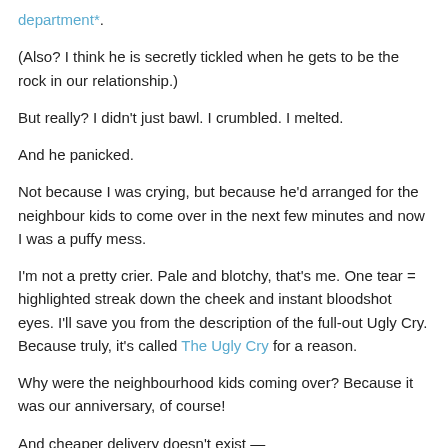department*.
(Also? I think he is secretly tickled when he gets to be the rock in our relationship.)
But really? I didn't just bawl. I crumbled. I melted.
And he panicked.
Not because I was crying, but because he'd arranged for the neighbour kids to come over in the next few minutes and now I was a puffy mess.
I'm not a pretty crier. Pale and blotchy, that's me. One tear = highlighted streak down the cheek and instant bloodshot eyes. I'll save you from the description of the full-out Ugly Cry. Because truly, it's called The Ugly Cry for a reason.
Why were the neighbourhood kids coming over? Because it was our anniversary, of course!
And cheaper delivery doesn't exist —